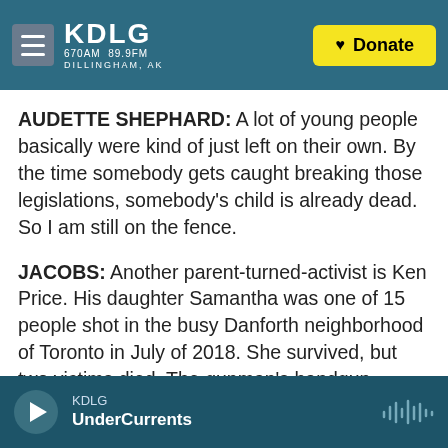KDLG 670AM 89.9FM DILLINGHAM, AK | Donate
AUDETTE SHEPHARD: A lot of young people basically were kind of just left on their own. By the time somebody gets caught breaking those legislations, somebody's child is already dead. So I am still on the fence.
JACOBS: Another parent-turned-activist is Ken Price. His daughter Samantha was one of 15 people shot in the busy Danforth neighborhood of Toronto in July of 2018. She survived, but two victims died. The gunman's handgun turned out to have been stolen from a shop in another province.
KDLG UnderCurrents